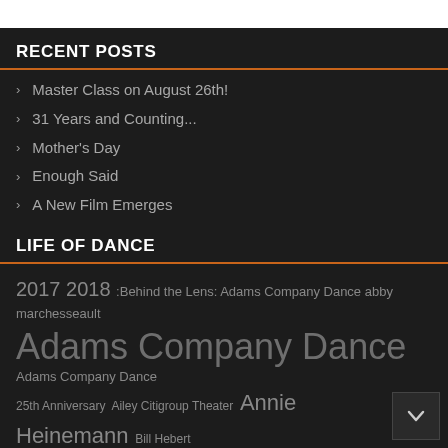RECENT POSTS
Master Class on August 26th!
31 Years and Counting...
Mother's Day
Enough Said
A New Film Emerges
LIFE OF DANCE
2017 2018 :Behind the Lens: Adams Company Dance abby marchesseault Adams Company Dance Adams Company Dance 25th Anniversary Ailey Citigroup Theater Annie Heinemann Bill Hebert Photography Bryant Park Hotel Benefactor Room Celebration of Dance